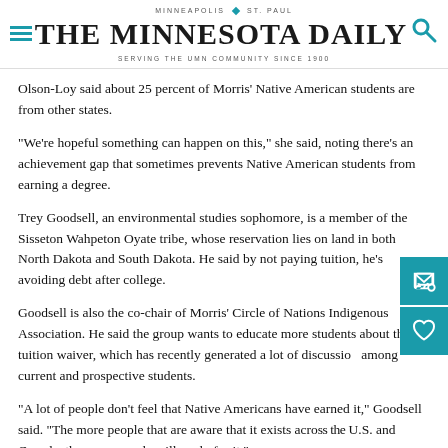MINNEAPOLIS | ST. PAUL — THE MINNESOTA DAILY — SERVING THE UMN COMMUNITY SINCE 1900
Olson-Loy said about 25 percent of Morris' Native American students are from other states.
“We're hopeful something can happen on this,” she said, noting there's an achievement gap that sometimes prevents Native American students from earning a degree.
Trey Goodsell, an environmental studies sophomore, is a member of the Sisseton Wahpeton Oyate tribe, whose reservation lies on land in both North Dakota and South Dakota. He said by not paying tuition, he's avoiding debt after college.
Goodsell is also the co-chair of Morris’ Circle of Nations Indigenous Association. He said the group wants to educate more students about the tuition waiver, which has recently generated a lot of discussion among current and prospective students.
“A lot of people don’t feel that Native Americans have earned it,” Goodsell said. “The more people that are aware that it exists across the U.S. and Canada, the more people will apply for it.”